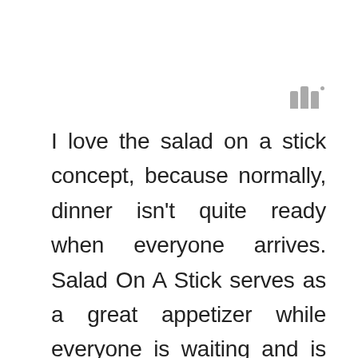[Figure (logo): Three vertical bars of varying height with a small dot, resembling a logo or icon, in gray]
I love the salad on a stick concept, because normally, dinner isn't quite ready when everyone arrives. Salad On A Stick serves as a great appetizer while everyone is waiting and is just a super fun way to eat a salad. Plus, it is super simple to make and by adding a cute Christmas plate, you have